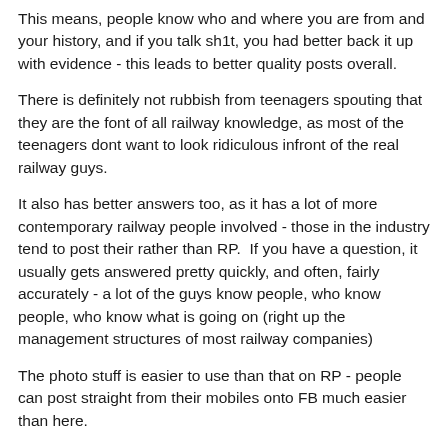This means, people know who and where you are from and your history, and if you talk sh1t, you had better back it up with evidence - this leads to better quality posts overall.
There is definitely not rubbish from teenagers spouting that they are the font of all railway knowledge, as most of the teenagers dont want to look ridiculous infront of the real railway guys.
It also has better answers too, as it has a lot of more contemporary railway people involved - those in the industry tend to post their rather than RP.  If you have a question, it usually gets answered pretty quickly, and often, fairly accurately - a lot of the guys know people, who know people, who know what is going on (right up the management structures of most railway companies)
The photo stuff is easier to use than that on RP - people can post straight from their mobiles onto FB much easier than here.
I like visiting both AREDORRA and RP, as both have their merits, but if I have a question, I would probably be looking for...